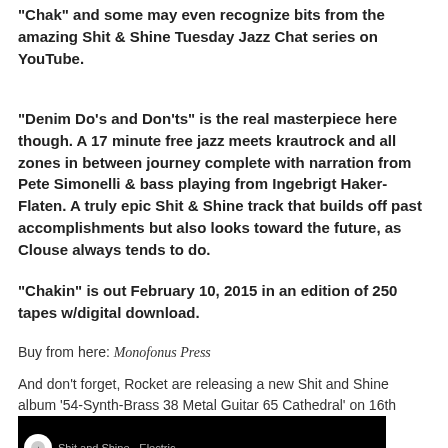“Chak” and some may even recognize bits from the amazing Shit & Shine Tuesday Jazz Chat series on YouTube.
“Denim Do’s and Don’ts” is the real masterpiece here though. A 17 minute free jazz meets krautrock and all zones in between journey complete with narration from Pete Simonelli & bass playing from Ingebrigt Haker-Flaten. A truly epic Shit & Shine track that builds off past accomplishments but also looks toward the future, as Clouse always tends to do.
“Chakin” is out February 10, 2015 in an edition of 250 tapes w/digital download.
Buy from here: Monofonus Press
And don't forget, Rocket are releasing a new Shit and Shine album '54-Synth-Brass 38 Metal Guitar 65 Cathedral' on 16th March, listen to the track Electric Pony 2 here:
[Figure (screenshot): Video thumbnail showing a black background with a circular logo and partial text reading 'Shit and Shine - Electric...']